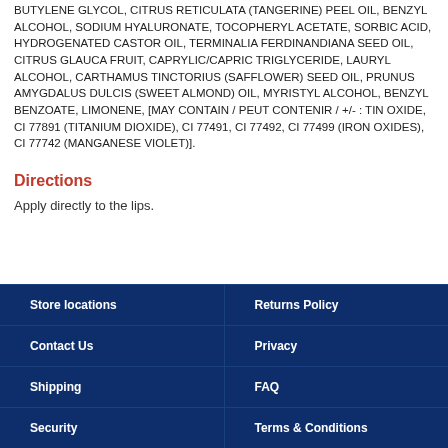BUTYLENE GLYCOL, CITRUS RETICULATA (TANGERINE) PEEL OIL, BENZYL ALCOHOL, SODIUM HYALURONATE, TOCOPHERYL ACETATE, SORBIC ACID, HYDROGENATED CASTOR OIL, TERMINALIA FERDINANDIANA SEED OIL, CITRUS GLAUCA FRUIT, CAPRYLIC/CAPRIC TRIGLYCERIDE, LAURYL ALCOHOL, CARTHAMUS TINCTORIUS (SAFFLOWER) SEED OIL, PRUNUS AMYGDALUS DULCIS (SWEET ALMOND) OIL, MYRISTYL ALCOHOL, BENZYL BENZOATE, LIMONENE, [MAY CONTAIN / PEUT CONTENIR / +/- : TIN OXIDE, CI 77891 (TITANIUM DIOXIDE), CI 77491, CI 77492, CI 77499 (IRON OXIDES), CI 77742 (MANGANESE VIOLET)].
Directions
Apply directly to the lips.
Store locations | Returns Policy | Contact Us | Privacy | Shipping | FAQ | Security | Terms & Conditions